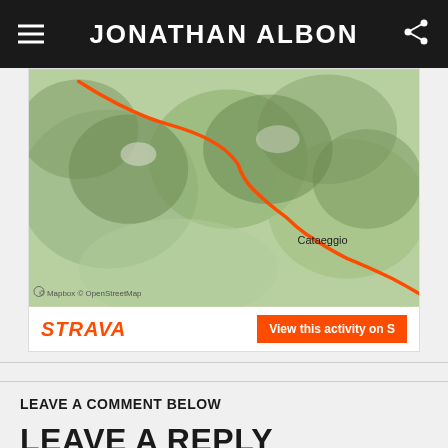JONATHAN ALBON
[Figure (map): Strava activity map showing a trail route in a mountainous area near Cataeggio, with an orange route line overlaid on a satellite/OpenStreetMap basemap. Mapbox and OpenStreetMap attribution visible at bottom left.]
STRAVA
View this activity on S
LEAVE A COMMENT BELOW
LEAVE A REPLY
Your email address will not be published. Required fields are marked *